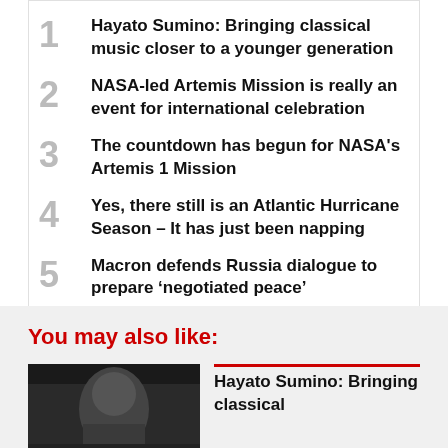1. Hayato Sumino: Bringing classical music closer to a younger generation
2. NASA-led Artemis Mission is really an event for international celebration
3. The countdown has begun for NASA's Artemis 1 Mission
4. Yes, there still is an Atlantic Hurricane Season – It has just been napping
5. Macron defends Russia dialogue to prepare ‘negotiated peace’
You may also like:
Hayato Sumino: Bringing classical